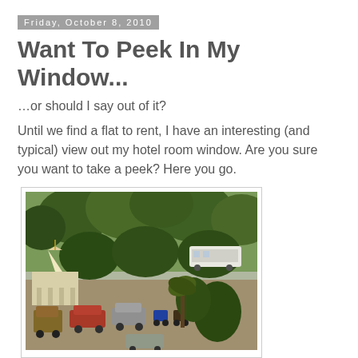Friday, October 8, 2010
Want To Peek In My Window...
…or should I say out of it?
Until we find a flat to rent, I have an interesting (and typical) view out my hotel room window. Are you sure you want to take a peek? Here you go.
[Figure (photo): Aerial view from a hotel room window showing a white Hindu temple with spire, parked cars and motorcycles, an auto-rickshaw, a white bus, and lush green trees in an urban Indian neighborhood.]